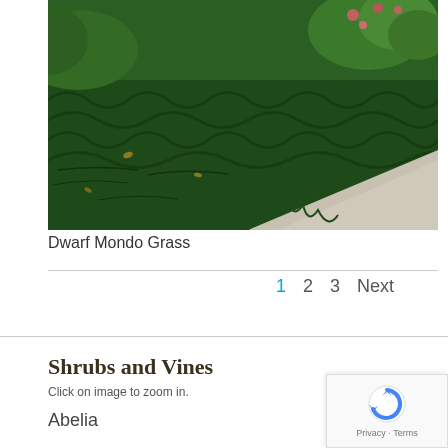[Figure (photo): Photograph of Dwarf Mondo Grass — dense, dark green low-growing grass with a curved edge meeting a pale concrete path; some flowering plants visible in the upper right background.]
Dwarf Mondo Grass
1  2  3  Next
Shrubs and Vines
Click on image to zoom in.
Abelia